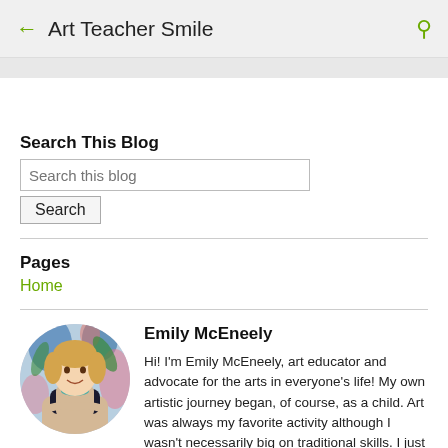Art Teacher Smile
Search This Blog
Search this blog
Pages
Home
Emily McEneely
Hi! I'm Emily McEneely, art educator and advocate for the arts in everyone's life! My own artistic journey began, of course, as a child. Art was always my favorite activity although I wasn't necessarily big on traditional skills. I just liked to make stuff! That love for "making" led me to attend